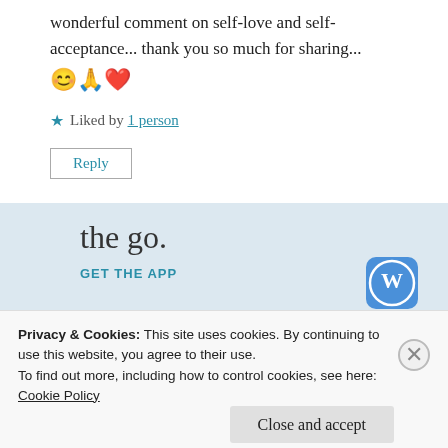wonderful comment on self-love and self-acceptance... thank you so much for sharing... 😊🙏❤️
★ Liked by 1 person
Reply
[Figure (screenshot): WordPress app advertisement banner showing 'the go.' text and 'GET THE APP' link with WordPress logo]
Privacy & Cookies: This site uses cookies. By continuing to use this website, you agree to their use.
To find out more, including how to control cookies, see here:
Cookie Policy
Close and accept